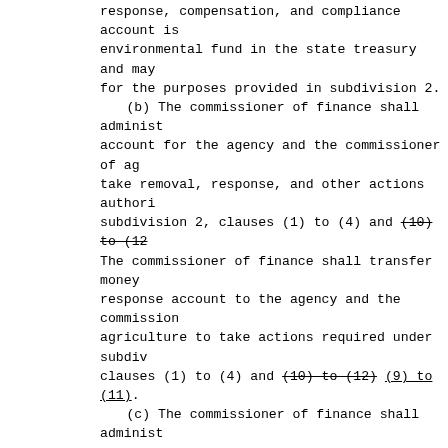response, compensation, and compliance account is environmental fund in the state treasury and may for the purposes provided in subdivision 2.
    (b) The commissioner of finance shall administ account for the agency and the commissioner of ag take removal, response, and other actions authori subdivision 2, clauses (1) to (4) and (10) to (12 The commissioner of finance shall transfer money response account to the agency and the commission agriculture to take actions required under subdiv clauses (1) to (4) and (10) to (12) (9) to (11).
    (c) The commissioner of finance shall administ account in a manner that allows the commissioner and the agency to utilize the money in the accoun their removal and remedial action duties as effec possible.
    (d) Amounts appropriated to the commissioner o under this subdivision shall not be included in t of finance budget but shall be included in the po agency and department of agriculture budgets.
    (e) All money recovered by the state under sec or any other law for injury to, destruction of, o natural resources resulting from the release of a substance, or a pollutant or contaminant, must be